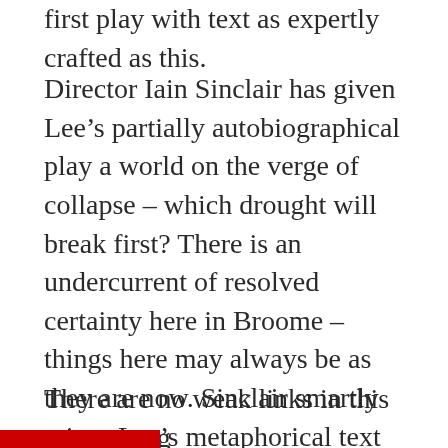first play with text as expertly crafted as this.
Director Iain Sinclair has given Lee’s partially autobiographical play a world on the verge of collapse – which drought will break first? There is an undercurrent of resolved certainty here in Broome – things here may always be as they are now. Sinclair smartly mines Lee’s metaphorical text for every piece of clarity and objectivity that the audience crave to tighten our understanding of events, and also ensures we can connect with every character’s intrinsic longing for change.
There are no weak links in this very strong cast, and one member provides terrifyingly